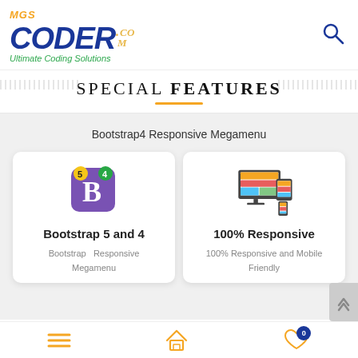[Figure (logo): MGS Coder .com logo with tagline 'Ultimate Coding Solutions']
SPECIAL FEATURES
Bootstrap4 Responsive Megamenu
[Figure (logo): Bootstrap 5 and 4 logo — purple square with white B, yellow 5 and green 4 badges]
Bootstrap 5 and 4
Bootstrap   Responsive Megamenu
[Figure (illustration): Responsive design icon — monitor, tablet and phone with colorful layout]
100% Responsive
100% Responsive and Mobile Friendly